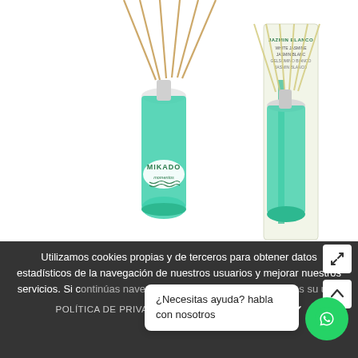[Figure (photo): Two Mikado reed diffuser bottles with green liquid and bamboo sticks. Left bottle is a standalone glass bottle labeled MIKADO with a white label. Right bottle is shown next to its white/green product box labeled JAZMIN BLANCO / WHITE JASMINE.]
Utilizamos cookies propias y de terceros para obtener datos estadísticos de la navegación de nuestros usuarios y mejorar nuestros servicios. Si c... an... consideramo...
¿Necesitas ayuda? habla con nosotros
POLÍTICA DE PRIVACIDAD   ACEPTAR COOKIES ✔